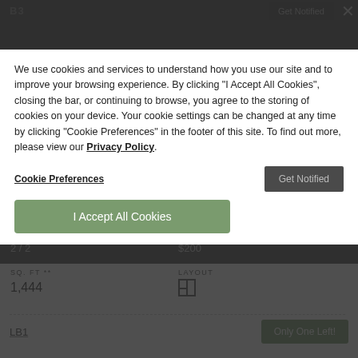B3
| BED / BATH | RENT | DEPOSIT * |
| --- | --- | --- |
| 2 / 2 | — | $200 |
We use cookies and services to understand how you use our site and to improve your browsing experience. By clicking "I Accept All Cookies", closing the bar, or continuing to browse, you agree to the storing of cookies on your device. Your cookie settings can be changed at any time by clicking "Cookie Preferences" in the footer of this site. To find out more, please view our Privacy Policy
Cookie Preferences
I Accept All Cookies
| BED / BATH | RENT | DEPOSIT * |
| --- | --- | --- |
| 2 / 2 | — | $200 |
| SQ. FT ** | LAYOUT |
| --- | --- |
| 1,444 |  |
LB1
Only One Left!